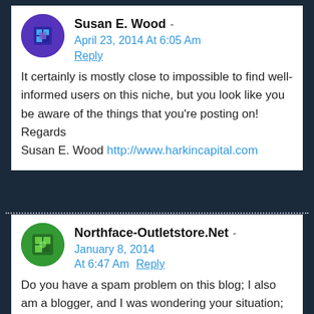Susan E. Wood - April 23, 2014 At 6:05 Am
Reply
It certainly is mostly close to impossible to find well-informed users on this niche, but you look like you be aware of the things that you're posting on! Regards
Susan E. Wood http://www.harkincapital.com
Northface-Outletstore.Net - January 8, 2014 At 6:47 Am Reply
Do you have a spam problem on this blog; I also am a blogger, and I was wondering your situation; we have developed some nice procedures and we are looking to swap methods with other folks, please shoot me an e-mail if interested.